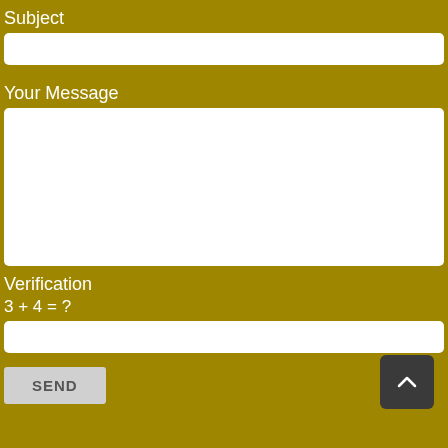Subject
[Figure (other): Empty text input field for Subject]
Your Message
[Figure (other): Large empty textarea for message input]
Verification
3 + 4 = ?
[Figure (other): Empty text input field for verification answer]
SEND
[Figure (other): Dark square button with upward chevron arrow for scroll to top]